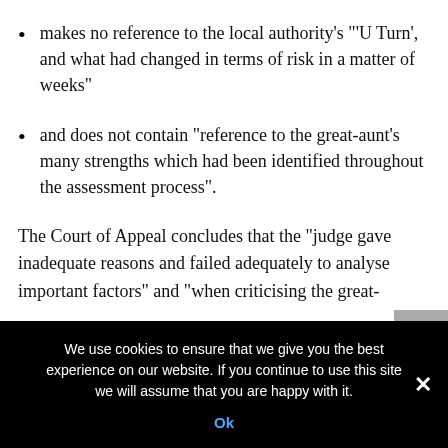makes no reference to the local authority's “‘U Turn’, and what had changed in terms of risk in a matter of weeks”
and does not contain “reference to the great-aunt’s many strengths which had been identified throughout the assessment process”.
The Court of Appeal concludes that the “judge gave inadequate reasons and failed adequately to analyse important factors” and “when criticising the great-aunt, it would appear that, on occasion, she…